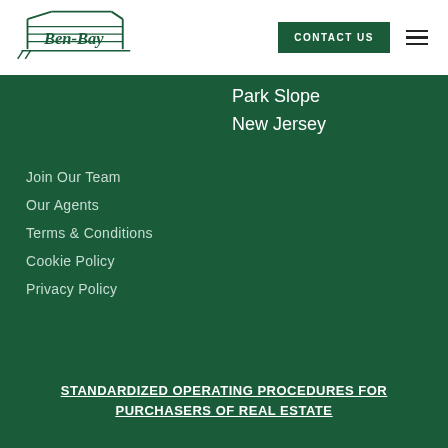[Figure (logo): Ben-Bay real estate logo with building silhouette and cursive text]
CONTACT US
Park Slope
New Jersey
Join Our Team
Our Agents
Terms & Conditions
Cookie Policy
Privacy Policy
STANDARDIZED OPERATING PROCEDURES FOR PURCHASERS OF REAL ESTATE